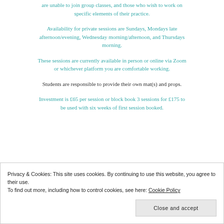are unable to join group classes, and those who wish to work on specific elements of their practice.
Availability for private sessions are Sundays, Mondays late afternoon/evening, Wednesday morning/afternoon, and Thursdays morning.
These sessions are currently available in person or online via Zoom or whichever platform you are comfortable working.
Students are responsible to provide their own mat(s) and props.
Investment is £65 per session or block book 3 sessions for £175 to be used with six weeks of first session booked.
Privacy & Cookies: This site uses cookies. By continuing to use this website, you agree to their use. To find out more, including how to control cookies, see here: Cookie Policy